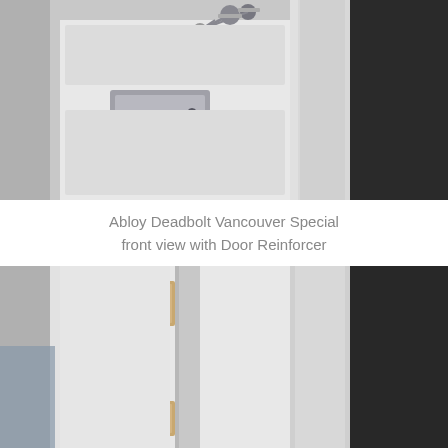[Figure (photo): Close-up photo of an Abloy deadbolt lock with a square lever handle and keys hanging from the keyhole, mounted on a white door with door reinforcer visible]
Abloy Deadbolt Vancouver Special front view with Door Reinforcer
[Figure (photo): Photo showing the edge/side view of a white door with door reinforcer hardware including strike plate cutouts and lock hardware, with dark exterior wall visible on the right]